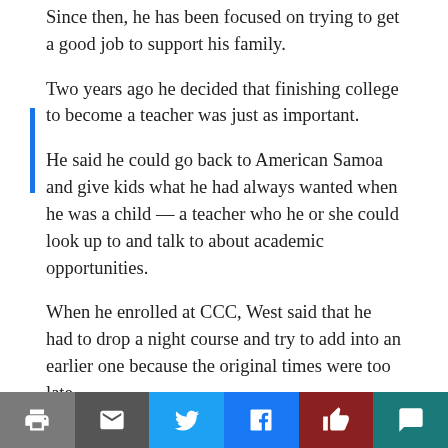Since then, he has been focused on trying to get a good job to support his family.
Two years ago he decided that finishing college to become a teacher was just as important.
He said he could go back to American Samoa and give kids what he had always wanted when he was a child — a teacher who he or she could look up to and talk to about academic opportunities.
When he enrolled at CCC, West said that he had to drop a night course and try to add into an earlier one because the original times were too late.
“I need to be fresh (to learn),” he said. “The class was late so the mental capacity wasn’t there.”
Recently, he said he had to turn down a promotion because